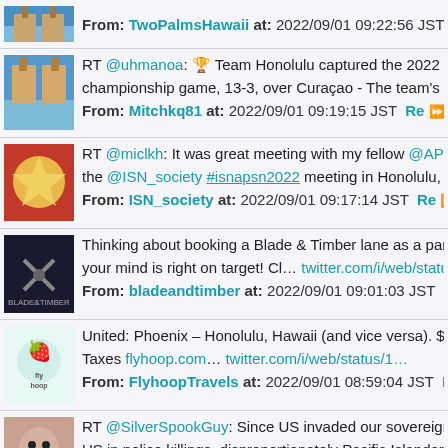From: TwoPalmsHawaii at: 2022/09/01 09:22:56 JST Re RT
RT @uhmanoa: Team Honolulu captured the 2022 @Little championship game, 13-3, over Curaçao - The team's man... From: Mitchkq81 at: 2022/09/01 09:19:15 JST Re RT
RT @miclkh: It was great meeting with my fellow @APSN_s the @ISN_society #isnapsn2022 meeting in Honolulu, Haw... From: ISN_society at: 2022/09/01 09:17:14 JST Re RT
Thinking about booking a Blade & Timber lane as a part of your mind is right on target! Cl... twitter.com/i/web/status/1. From: bladeandtimber at: 2022/09/01 09:01:03 JST Re RT
United: Phoenix – Honolulu, Hawaii (and vice versa). $313. Taxes flyhoop.com... twitter.com/i/web/status/1... From: FlyhoopTravels at: 2022/09/01 08:59:04 JST Re RT
RT @SilverSpookGuy: Since US invaded our sovereign co US in police killings, disproportionately Pacific Islander... From: slime_mother at: 2022/09/01 08:40:31 JST Re RT
RT @SilverSpookGuy: Since US invaded our sovereign co US in police killings, disproportionately Pacific Islander... From: JibMonkey at: 2022/09/01 08:39:45 JST Re RT